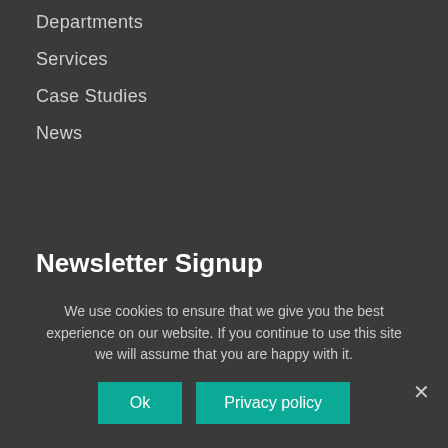Departments
Services
Case Studies
News
Newsletter Signup
First Name
Last Name
We use cookies to ensure that we give you the best experience on our website. If you continue to use this site we will assume that you are happy with it.
Ok
Privacy policy